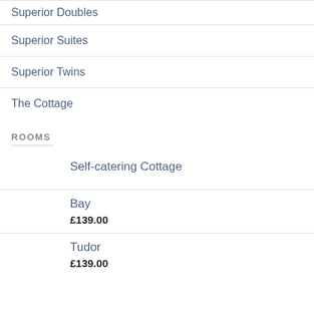Superior Doubles
Superior Suites
Superior Twins
The Cottage
ROOMS
Self-catering Cottage
Bay
£139.00
Tudor
£139.00